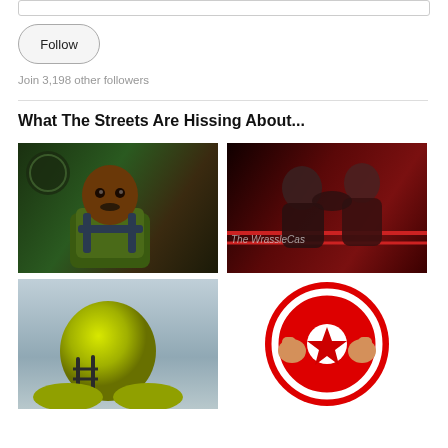Follow
Join 3,198 other followers
What The Streets Are Hissing About...
[Figure (illustration): Animated cartoon muscular man in military/tactical gear with a stern expression, green camouflage outfit, clock in background]
[Figure (photo): Two wrestlers grappling in a wrestling ring with red-tinted dark background, text overlay reading 'The WrassleCas']
[Figure (photo): Football player wearing a yellow-green helmet, gray background, partial view]
[Figure (illustration): Comic-style red circular shield/logo with fists raised, Captain America-style design]